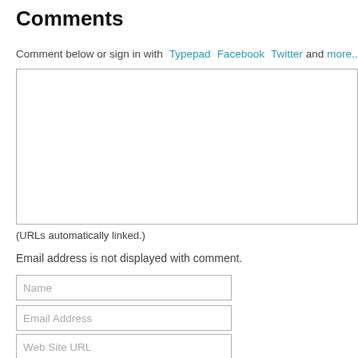Comments
Comment below or sign in with Typepad Facebook Twitter and more...
[Figure (other): Large empty comment text area input box]
(URLs automatically linked.)
Email address is not displayed with comment.
Name (input field)
Email Address (input field)
Web Site URL (input field)
Post | Preview (buttons)